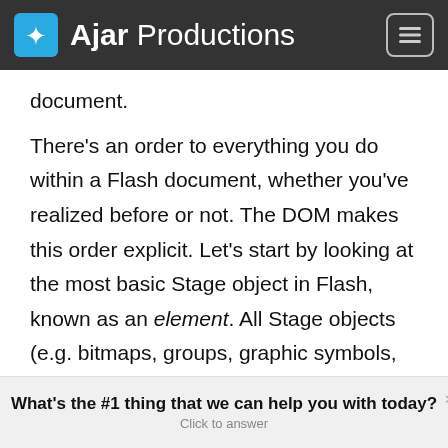Ajar Productions
document.
There's an order to everything you do within a Flash document, whether you've realized before or not. The DOM makes this order explicit. Let's start by looking at the most basic Stage object in Flash, known as an element. All Stage objects (e.g. bitmaps, groups, graphic symbols, and movieclip symbols) inherit the properties (things that
What's the #1 thing that we can help you with today? Click to answer